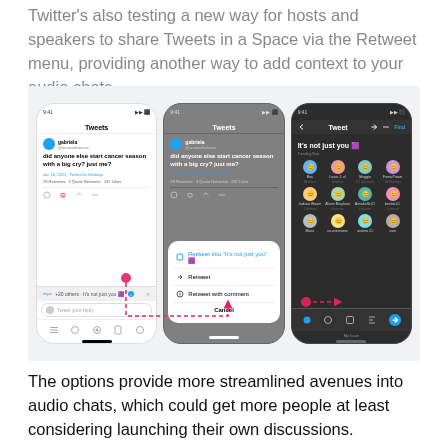Twitter's also testing a new way for hosts and speakers to share Tweets in a Space via the Retweet menu, providing another way to add context to your audio chats.
[Figure (screenshot): Three mobile phone screenshots showing Twitter/X interface: first phone shows a tweet by 'gabriela' asking 'did anyone else start cancer season with a big cry? just me?' with action buttons; second phone shows the same tweet on a gray background with a Retweet menu popup showing options including 'Retweet into It's not just you', 'Retweet', and 'Retweet with comment'; third phone shows a dark-mode Twitter interface with 'It's not just you' topic and a grid of user avatars.]
The options provide more streamlined avenues into audio chats, which could get more people at least considering launching their own discussions.